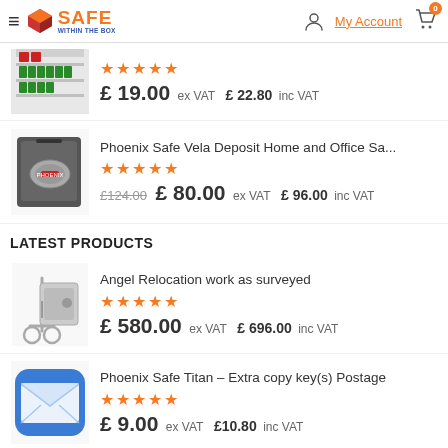Safe Within The Box — My Account — Cart (0)
★★★★★ £ 19.00 ex VAT  £ 22.80 inc VAT
Phoenix Safe Vela Deposit Home and Office Sa... ★★★★★ £124.00 £ 80.00 ex VAT  £ 96.00 inc VAT
LATEST PRODUCTS
Angel Relocation work as surveyed ★★★★★ £ 580.00 ex VAT  £ 696.00 inc VAT
Phoenix Safe Titan – Extra copy key(s) Postage ★★★★★ £ 9.00 ex VAT  £10.80 inc VAT